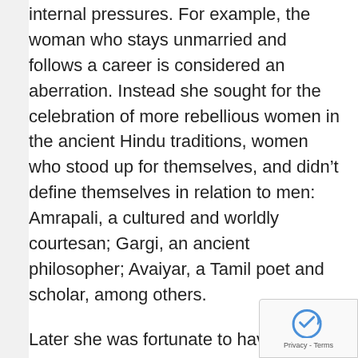internal pressures. For example, the woman who stays unmarried and follows a career is considered an aberration. Instead she sought for the celebration of more rebellious women in the ancient Hindu traditions, women who stood up for themselves, and didn't define themselves in relation to men: Amrapali, a cultured and worldly courtesan; Gargi, an ancient philosopher; Avaiyar, a Tamil poet and scholar, among others.
Later she was fortunate to have her values endorsed while she was enrolled at St. Anne's College for her PPE course. Her tutors, Iris Murdoch, Peter Ady, Jenifer Hart: three supremely intellectual women, took her seriously as a fellow thinker – a respectful intellectual engagement. 'I was a woman among the men who were used to being the ...